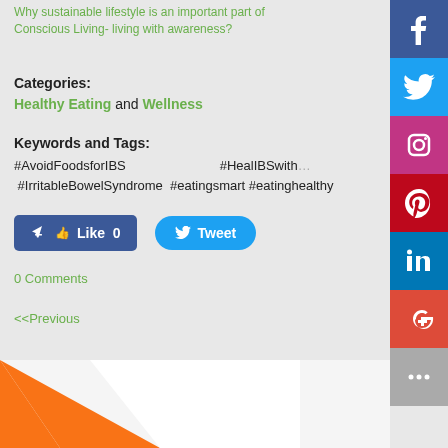Why sustainable lifestyle is an important part of Conscious Living- living with awareness?
Categories:
Healthy Eating  and  Wellness
Keywords and Tags:
#AvoidFoodsforIBS   #HealIBSwith... #IrritableBowelSyndrome #eatingsmart #eatinghealthy
[Figure (other): Facebook, Twitter, Instagram, Pinterest, LinkedIn, Google+, and more social share buttons sidebar]
Like 0  Tweet
0 Comments
<<Previous
[Figure (illustration): Orange and white triangular graphic at bottom of page]